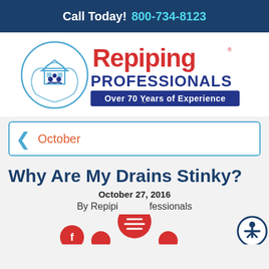Call Today! 800-734-8123
[Figure (logo): Repiping Professionals logo — house icon held by hands in a circle, with text 'Repiping PROFESSIONALS Over 70 Years of Experience']
October
Why Are My Drains Stinky?
October 27, 2016
By Repiping Professionals